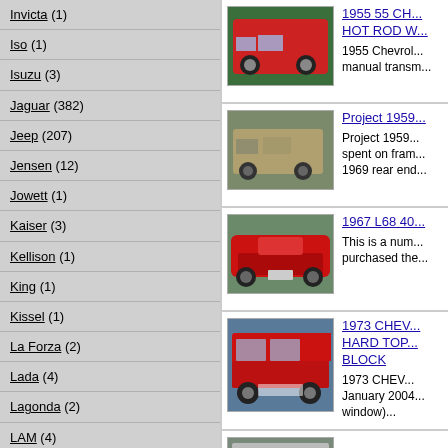Invicta (1)
Iso (1)
Isuzu (3)
Jaguar (382)
Jeep (207)
Jensen (12)
Jowett (1)
Kaiser (3)
Kellison (1)
King (1)
Kissel (1)
La Forza (2)
Lada (4)
Lagonda (2)
LAM (4)
Lamborghini (11)
Lancia (39)
[Figure (photo): 1955 red Chevrolet hot rod]
1955 55 CH... HOT ROD W... 1955 Chevrol... manual transm...
[Figure (photo): Project 1959 car under restoration]
Project 1959... spent on fram... 1969 rear end...
[Figure (photo): 1967 L68 red Corvette rear view]
1967 L68 40... This is a num... purchased the...
[Figure (photo): 1973 Chevy Blazer hard top red]
1973 CHEV... HARD TOP... BLOCK 1973 CHEV... January 2004... window)...
[Figure (photo): Partial view of another car listing]